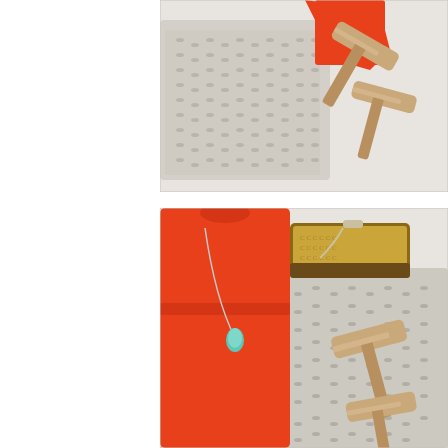[Figure (photo): Flat lay photo showing a gray and white patterned skirt/garment and an orange sleeveless top arranged next to tan/nude strappy block-heel sandals, photographed on a light textured surface from above.]
[Figure (photo): Flat lay photo showing an orange sleeveless tank dress/top layered over a gray and white patterned skirt, with a turquoise teardrop pendant necklace on the orange top, a Coach signature canvas and leather wristlet/clutch bag in the upper right, and tan/nude strappy block-heel sandals on the right side. Photographed from above on a light textured surface.]